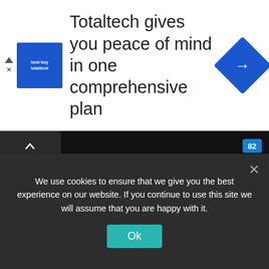[Figure (infographic): Advertisement banner: Totaltech logo (blue square), text 'Totaltech gives you peace of mind in one comprehensive plan', and a blue diamond navigation icon]
Tags
13F
AMERS
BACT
business
Business News
CMPNY
economy
FIN
finance
Hedge Fund Holdings
Institutional Investor Holdings
Markets
news
real estate
We use cookies to ensure that we give you the best experience on our website. If you continue to use this site we will assume that you are happy with it.
Ok